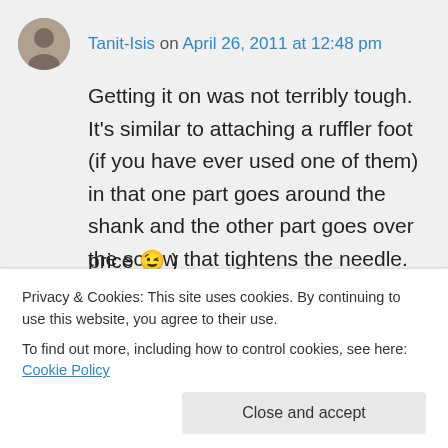Tanit-Isis on April 26, 2011 at 12:48 pm
Getting it on was not terribly tough. It's similar to attaching a ruffler foot (if you have ever used one of them) in that one part goes around the shank and the other part goes over the screw that tightens the needle. As a result you need to tilt it a bit to get it in—once you get the tilt right it's quite easy, though. There is a certain amount of screwing and unscrewing that needs to be
price 😉 )
Privacy & Cookies: This site uses cookies. By continuing to use this website, you agree to their use.
To find out more, including how to control cookies, see here: Cookie Policy
Close and accept